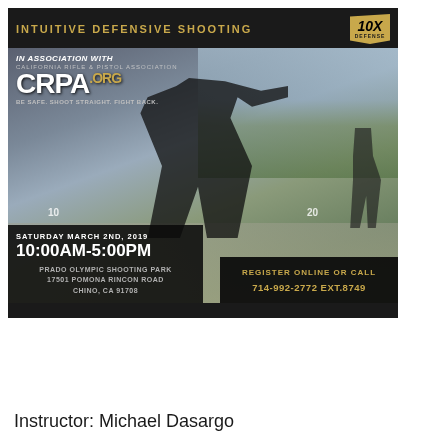[Figure (photo): Promotional flyer for Intuitive Defensive Shooting event in association with CRPA (California Rifle & Pistol Association). Shows a shooter at a range aiming a handgun. Event details: Saturday March 2nd, 2019, 10:00AM-5:00PM, Prado Olympic Shooting Park, 17501 Pomona Rincon Road, Chino, CA 91708. Register online or call 714-992-2772 EXT.8749. Features 10X Defense logo.]
Instructor: Michael Dasargo